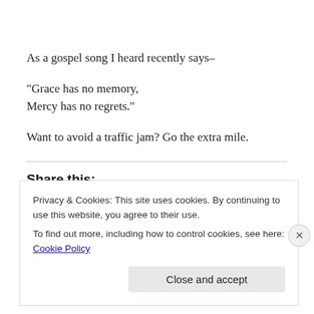As a gospel song I heard recently says–
“Grace has no memory,
Mercy has no regrets.”
Want to avoid a traffic jam? Go the extra mile.
Share this:
Privacy & Cookies: This site uses cookies. By continuing to use this website, you agree to their use.
To find out more, including how to control cookies, see here: Cookie Policy
Close and accept